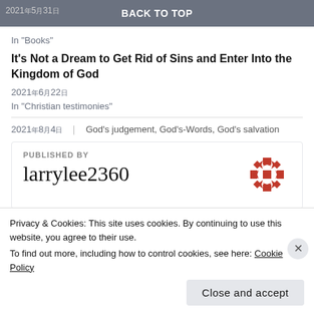2021年5月31日  BACK TO TOP
In "Books"
It's Not a Dream to Get Rid of Sins and Enter Into the Kingdom of God
2021年6月22日
In "Christian testimonies"
2021年8月4日   God's judgement, God's-Words, God's salvation
PUBLISHED BY
larrylee2360
Privacy & Cookies: This site uses cookies. By continuing to use this website, you agree to their use.
To find out more, including how to control cookies, see here: Cookie Policy
Close and accept